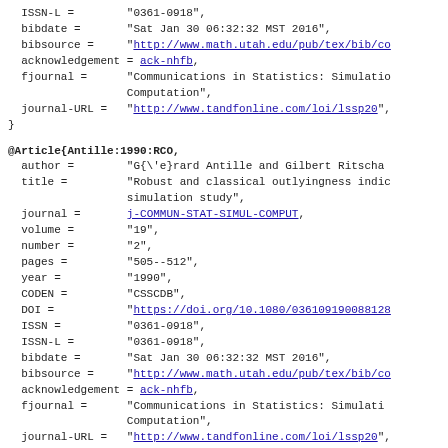ISSN-L = "0361-0918",
  bibdate = "Sat Jan 30 06:32:32 MST 2016",
  bibsource = "http://www.math.utah.edu/pub/tex/bib/co
  acknowledgement = ack-nhfb,
  fjournal = "Communications in Statistics: Simulatio
             Computation",
  journal-URL = "http://www.tandfonline.com/loi/lssp20",
}
@Article{Antille:1990:RCO,
  author = "G{\'e}rard Antille and Gilbert Ritscha
  title = "Robust and classical outlyingness indic
           simulation study",
  journal = j-COMMUN-STAT-SIMUL-COMPUT,
  volume = "19",
  number = "2",
  pages = "505--512",
  year = "1990",
  CODEN = "CSSCDB",
  DOI = "https://doi.org/10.1080/036109190088128
  ISSN = "0361-0918",
  ISSN-L = "0361-0918",
  bibdate = "Sat Jan 30 06:32:32 MST 2016",
  bibsource = "http://www.math.utah.edu/pub/tex/bib/co
  acknowledgement = ack-nhfb,
  fjournal = "Communications in Statistics: Simulati
             Computation",
  journal-URL = "http://www.tandfonline.com/loi/lssp20",
}